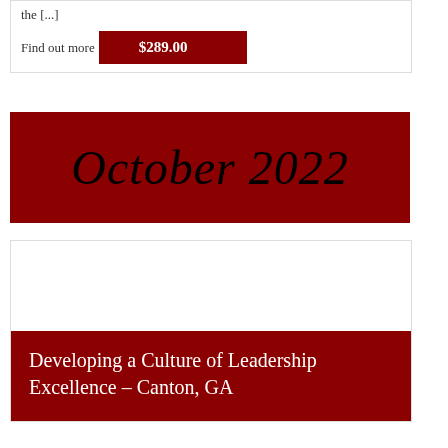the [...]
Find out more  $289.00
October 2022
[Figure (photo): Blank white image area inside a card for the event listing]
Developing a Culture of Leadership Excellence – Canton, GA